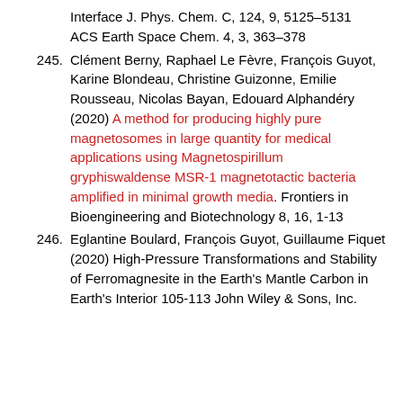Interface J. Phys. Chem. C, 124, 9, 5125–5131
ACS Earth Space Chem. 4, 3, 363–378
245. Clément Berny, Raphael Le Fèvre, François Guyot, Karine Blondeau, Christine Guizonne, Emilie Rousseau, Nicolas Bayan, Edouard Alphandéry (2020) A method for producing highly pure magnetosomes in large quantity for medical applications using Magnetospirillum gryphiswaldense MSR-1 magnetotactic bacteria amplified in minimal growth media. Frontiers in Bioengineering and Biotechnology 8, 16, 1-13
246. Eglantine Boulard, François Guyot, Guillaume Fiquet (2020) High-Pressure Transformations and Stability of Ferromagnesite in the Earth's Mantle Carbon in Earth's Interior 105-113 John Wiley & Sons, Inc.